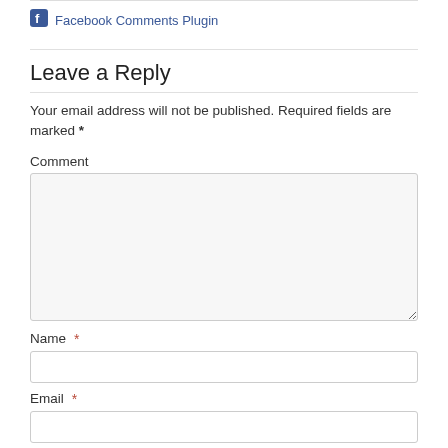Facebook Comments Plugin
Leave a Reply
Your email address will not be published. Required fields are marked *
Comment
[Figure (screenshot): Large comment text area input box with light gray background]
Name *
[Figure (screenshot): Name text input field]
Email *
[Figure (screenshot): Email text input field]